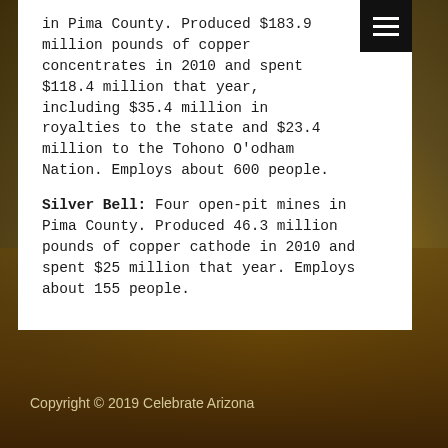in Pima County. Produced $183.9 million pounds of copper concentrates in 2010 and spent $118.4 million that year, including $35.4 million in royalties to the state and $23.4 million to the Tohono O'odham Nation. Employs about 600 people.
Silver Bell: Four open-pit mines in Pima County. Produced 46.3 million pounds of copper cathode in 2010 and spent $25 million that year. Employs about 155 people.
Copyright © 2019 Celebrate Arizona